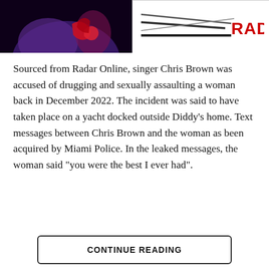[Figure (photo): Left half shows a dark photo with purple and red tones, appearing to be a person in a purple outfit with red accents against a dark background.]
[Figure (logo): Radar Online logo on white background with diagonal lines and bold red RADAR text.]
Sourced from Radar Online, singer Chris Brown was accused of drugging and sexually assaulting a woman back in December 2022. The incident was said to have taken place on a yacht docked outside Diddy’s home. Text messages between Chris Brown and the woman as been acquired by Miami Police. In the leaked messages, the woman said “you were the best I ever had”.
CONTINUE READING